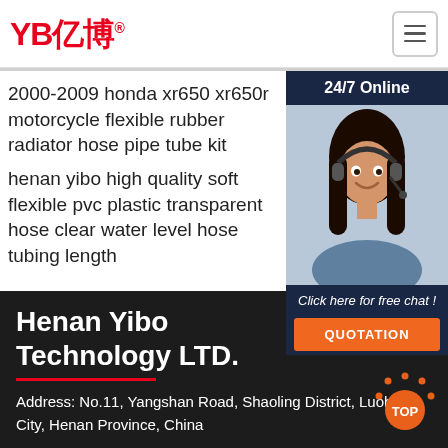YB亿博®
2000-2009 honda xr650 xr650r motorcycle flexible rubber radiator hose pipe tube kit
henan yibo high quality soft flexible pvc plastic transparent hose clear water level hose tubing length
[Figure (photo): Customer service representative with headset, 24/7 Online chat widget with dark blue background]
Henan Yibo Technology LTD.
Address: No.11, Yangshan Road, Shaoling District, Luohe City, Henan Province, China
Tel: +8618437960706